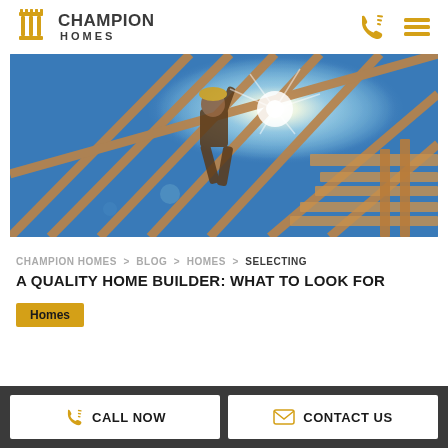CHAMPION HOMES
[Figure (photo): A construction worker walking on wooden roof framing beams with bright sunlight and lens flare, blue sky background]
CHAMPION HOMES > BLOG > HOMES > SELECTING A QUALITY HOME BUILDER: WHAT TO LOOK FOR
SELECTING A QUALITY HOME BUILDER: WHAT TO LOOK FOR
Homes
CALL NOW   CONTACT US